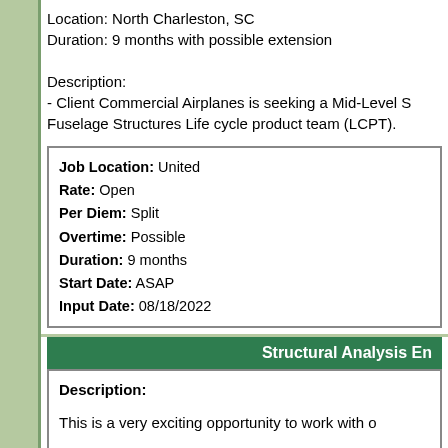Location: North Charleston, SC
Duration: 9 months with possible extension

Description:
- Client Commercial Airplanes is seeking a Mid-Level S Fuselage Structures Life cycle product team (LCPT).
| Job Location: | United |
| Rate: | Open |
| Per Diem: | Split |
| Overtime: | Possible |
| Duration: | 9 months |
| Start Date: | ASAP |
| Input Date: | 08/18/2022 |
Structural Analysis En
Description:

This is a very exciting opportunity to work with o

The contracts are regularly extended and direct c

Leads development, integration and documentation of